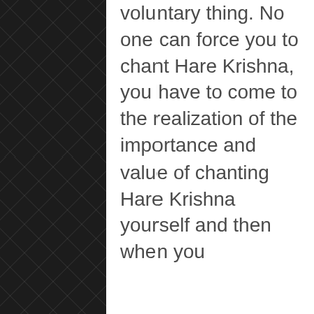voluntary thing. No one can force you to chant Hare Krishna, you have to come to the realization of the importance and value of chanting Hare Krishna yourself and then when you